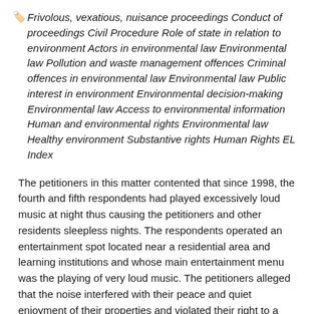Frivolous, vexatious, nuisance proceedings Conduct of proceedings Civil Procedure Role of state in relation to environment Actors in environmental law Environmental law Pollution and waste management offences Criminal offences in environmental law Environmental law Public interest in environment Environmental decision-making Environmental law Access to environmental information Human and environmental rights Environmental law Healthy environment Substantive rights Human Rights EL Index
The petitioners in this matter contented that since 1998, the fourth and fifth respondents had played excessively loud music at night thus causing the petitioners and other residents sleepless nights. The respondents operated an entertainment spot located near a residential area and learning institutions and whose main entertainment menu was the playing of very loud music. The petitioners alleged that the noise interfered with their peace and quiet enjoyment of their properties and violated their right to a clean and healthy environment.